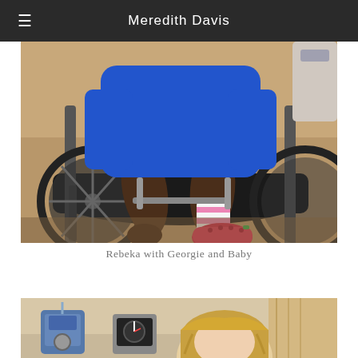Meredith Davis
[Figure (photo): A child in a wheelchair wearing a blue shirt. The child's feet rest on the wheelchair footrest, one foot wearing a white and pink striped sock with a bright pink/red shoe (Croc-style), the other foot bare. Close-up view of the wheelchair's black metal frame and footrests in what appears to be a medical or clinical setting.]
Rebeka with Georgie and Baby
[Figure (photo): A person with blonde hair in a hospital or medical room setting, with medical equipment visible including what appears to be a suction canister and blood pressure gauge on the left side. A curtain is visible on the right side of the image.]